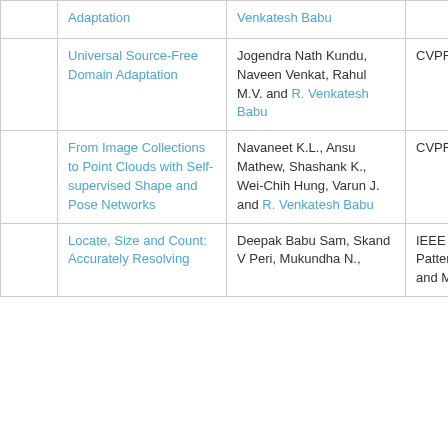|  | Title | Authors | Venue |
| --- | --- | --- | --- |
|  | Adaptation | Venkatesh Babu |  |
|  | Universal Source-Free Domain Adaptation | Jogendra Nath Kundu, Naveen Venkat, Rahul M.V. and R. Venkatesh Babu | CVPR 2020 |
|  | From Image Collections to Point Clouds with Self-supervised Shape and Pose Networks | Navaneet K.L., Ansu Mathew, Shashank K., Wei-Chih Hung, Varun J. and R. Venkatesh Babu | CVPR 2020 |
|  | Locate, Size and Count: Accurately Resolving | Deepak Babu Sam, Skand V Peri, Mukundha N., | IEEE Trans. Pattern Analysis and Machine |